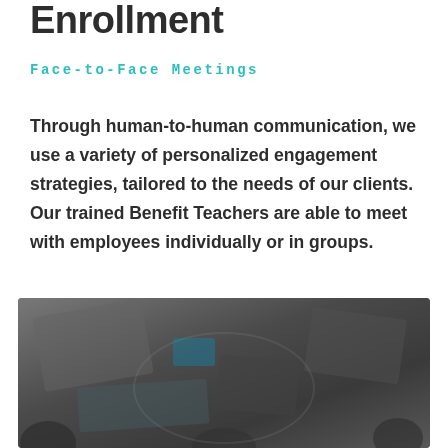Enrollment
Face-to-Face Meetings
Through human-to-human communication, we use a variety of personalized engagement strategies, tailored to the needs of our clients. Our trained Benefit Teachers are able to meet with employees individually or in groups.
[Figure (photo): Overhead/aerial view of people sitting around a table at a meeting, dark-toned photograph]